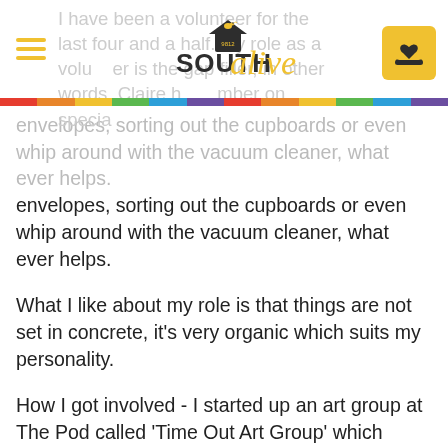South Alive – site header with logo, hamburger menu, and donate button
I have been a volunteer for the last four and a half. My role as a volunteer is the gap filler, in other words, Claire her number on special mail. I just g ask if I am able to undertake a task such as putting seeds in envelopes, sorting out the cupboards or even whip around with the vacuum cleaner, what ever helps.
What I like about my role is that things are not set in concrete, it's very organic which suits my personality.
How I got involved - I started up an art group at The Pod called 'Time Out Art Group' which brought a few of the mothers together who needed a safe and warm environment to work in. Claire made us all welcome and popped in to have a chat with us all. Now I am pretty blessed